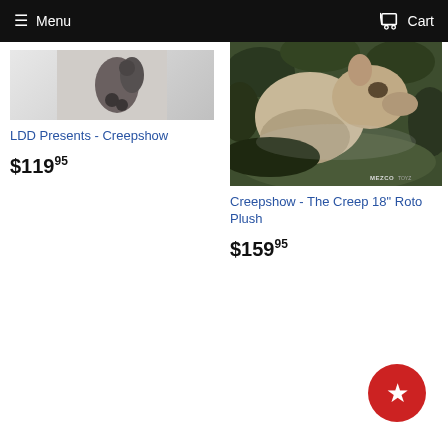Menu   Cart
[Figure (photo): Partial product photo of LDD Presents Creepshow figure, cropped at top]
LDD Presents - Creepshow
$119.95
[Figure (photo): Product photo of Creepshow - The Creep 18" Roto Plush, showing a creature outdoors, with MEZCO TOYZ watermark]
Creepshow - The Creep 18" Roto Plush
$159.95